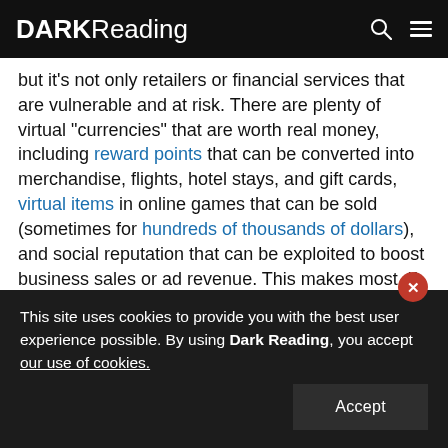DARK Reading
but it's not only retailers or financial services that are vulnerable and at risk. There are plenty of virtual "currencies" that are worth real money, including reward points that can be converted into merchandise, flights, hotel stays, and gift cards, virtual items in online games that can be sold (sometimes for hundreds of thousands of dollars), and social reputation that can be exploited to boost business sales or ad revenue. This makes most, if not all, consumer-facing services prime targets for ATO attacks.
This site uses cookies to provide you with the best user experience possible. By using Dark Reading, you accept our use of cookies.